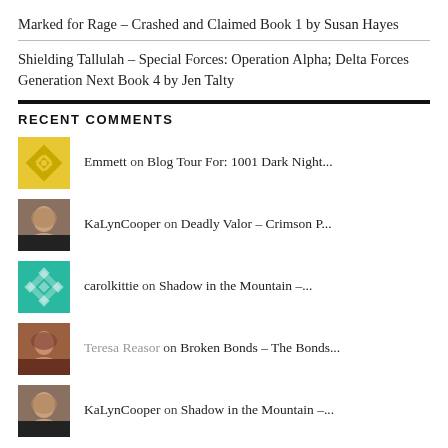Marked for Rage – Crashed and Claimed Book 1 by Susan Hayes
Shielding Tallulah – Special Forces: Operation Alpha; Delta Forces Generation Next Book 4 by Jen Talty
RECENT COMMENTS
Emmett on Blog Tour For: 1001 Dark Night...
KaLynCooper on Deadly Valor – Crimson P...
carolkittie on Shadow in the Mountain –...
Teresa Reasor on Broken Bonds – The Bonds...
KaLynCooper on Shadow in the Mountain –...